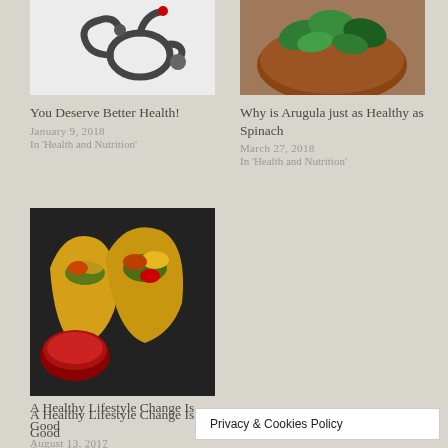[Figure (photo): Stethoscope with red object, medical health photo]
You Deserve Better Health!
January 9, 2018
In 'Health and Nutrition'
[Figure (photo): Bowl of arugula greens on wooden surface]
Why is Arugula just as Healthy as Spinach
March 27, 2018
In 'Health and Nutrition'
[Figure (photo): Tacos with vegetables and salsa on dark plate]
A Healthy Lifestyle Change Is Good
August 13, 2017
In 'Health and Nutrition'
Privacy & Cookies Policy